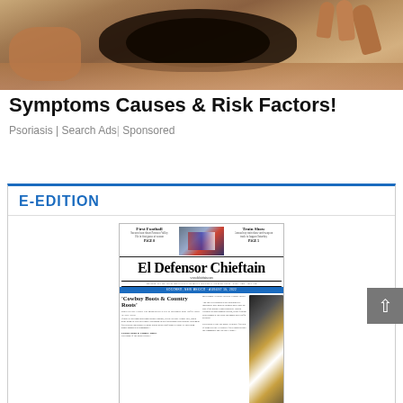[Figure (photo): Close-up photo of a person scratching the back of their neck/scalp, showing skin and dark hair, advertisement image for psoriasis]
Symptoms Causes & Risk Factors!
Psoriasis | Search Ads | Sponsored
E-EDITION
[Figure (screenshot): Thumbnail of El Defensor Chieftain newspaper front page. Headlines include 'First Football', 'Train Show', masthead 'El Defensor Chieftain', tagline 'PROUD TO BE NEW MEXICO'S OLDEST WEEKLY NEWSPAPER', 'Cowboy Boots & Country Roots', 2022 Socorro County Fair feature, rodeo photo.]